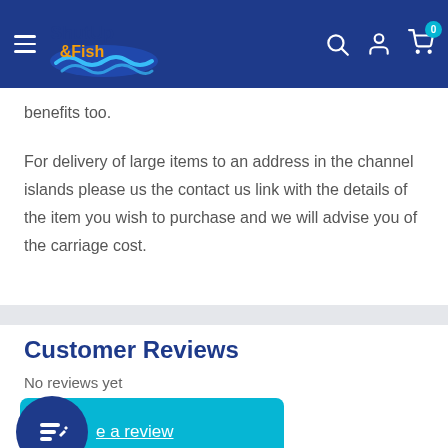[Figure (logo): Shut Up & Fish logo with blue wave design on dark navy header]
benefits too.
For delivery of large items to an address in the channel islands please us the contact us link with the details of the item you wish to purchase and we will advise you of the carriage cost.
Customer Reviews
No reviews yet
[Figure (screenshot): Write a review button in cyan/teal with dark blue circle icon]